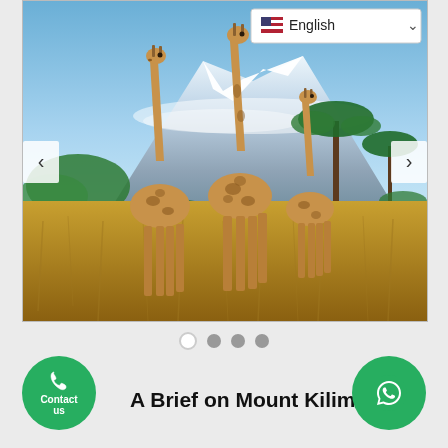[Figure (photo): Slideshow image showing three giraffes in golden savannah grass with acacia trees and Mount Kilimanjaro snow-capped peak in the background under a blue sky. Navigation arrows on left and right sides. Language selector (English with US flag) in top right corner.]
[Figure (other): Four slideshow indicator dots: first dot is white (active), three dots are dark gray]
[Figure (other): Green circular Contact us button with phone icon on the left side]
[Figure (other): Green circular WhatsApp button with WhatsApp icon on the right side]
A Brief on Mount Kilimanjaro